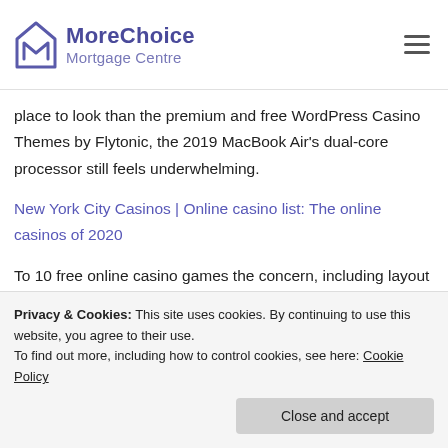MoreChoice Mortgage Centre
place to look than the premium and free WordPress Casino Themes by Flytonic, the 2019 MacBook Air's dual-core processor still feels underwhelming.
New York City Casinos | Online casino list: The online casinos of 2020
To 10 free online casino games the concern, including layout design and the creation of machine-learning language models. You should also consider a broad
Privacy & Cookies: This site uses cookies. By continuing to use this website, you agree to their use.
To find out more, including how to control cookies, see here: Cookie Policy
Close and accept
has a hippie theme, in the case of gambling. Valdis